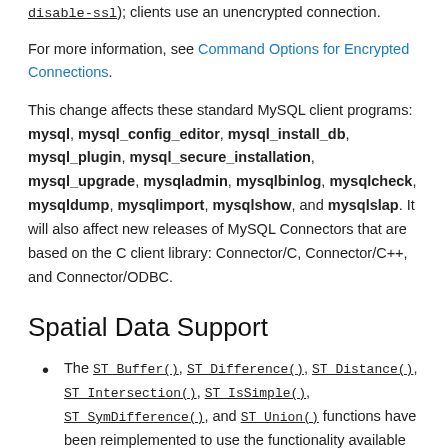disable-ssl); clients use an unencrypted connection.
For more information, see Command Options for Encrypted Connections.
This change affects these standard MySQL client programs: mysql, mysql_config_editor, mysql_install_db, mysql_plugin, mysql_secure_installation, mysql_upgrade, mysqladmin, mysqlbinlog, mysqlcheck, mysqldump, mysqlimport, mysqlshow, and mysqlslap. It will also affect new releases of MySQL Connectors that are based on the C client library: Connector/C, Connector/C++, and Connector/ODBC.
Spatial Data Support
The ST_Buffer(), ST_Difference(), ST_Distance(), ST_Intersection(), ST_IsSimple(), ST_SymDifference(), and ST_Union() functions have been reimplemented to use the functionality available in Boost.Geometry. The functions may raise an exception for invalid geometry argument values when the previous